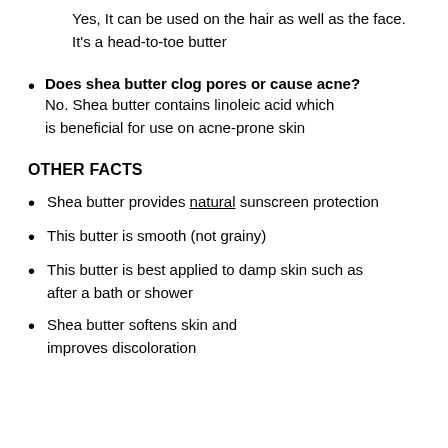Yes, It can be used on the hair as well as the face. It's a head-to-toe butter
Does shea butter clog pores or cause acne? No. Shea butter contains linoleic acid which is beneficial for use on acne-prone skin
OTHER FACTS
Shea butter provides natural sunscreen protection
This butter is smooth (not grainy)
This butter is best applied to damp skin such as after a bath or shower
Shea butter softens skin and improves discoloration